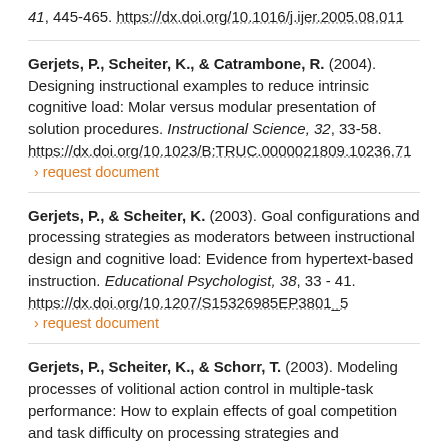41, 445-465. https://dx.doi.org/10.1016/j.ijer.2005.08.011
Gerjets, P., Scheiter, K., & Catrambone, R. (2004). Designing instructional examples to reduce intrinsic cognitive load: Molar versus modular presentation of solution procedures. Instructional Science, 32, 33-58. https://dx.doi.org/10.1023/B:TRUC.0000021809.10236.71 › request document
Gerjets, P., & Scheiter, K. (2003). Goal configurations and processing strategies as moderators between instructional design and cognitive load: Evidence from hypertext-based instruction. Educational Psychologist, 38, 33 - 41. https://dx.doi.org/10.1207/S15326985EP3801_5 › request document
Gerjets, P., Scheiter, K., & Schorr, T. (2003). Modeling processes of volitional action control in multiple-task performance: How to explain effects of goal competition and task difficulty on processing strategies and performance within ACT-R. Cognitive Science Quarterly, 3,